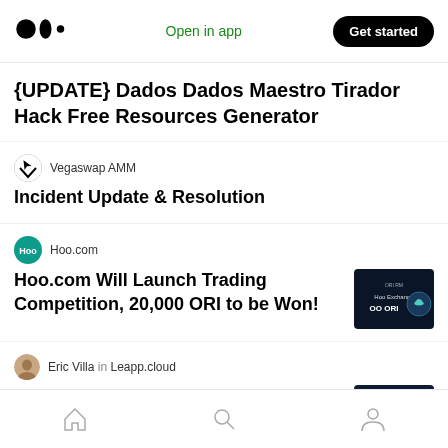Medium — Open in app | Get started
{UPDATE} Dados Dados Maestro Tirador Hack Free Resources Generator
Vegaswap AMM
Incident Update & Resolution
Hoo.com
Hoo.com Will Launch Trading Competition, 20,000 ORI to be Won!
[Figure (screenshot): Dark blue promotional image for Hoo.com trading competition featuring ORI token]
Eric Villa in Leapp.cloud
AWS is only as safe as the weakest credentials setup for your developers.
[Figure (screenshot): Dark blue Leapp promo image: AWS only as safe as weakest credentials setup for your developers]
Home | Search | Profile